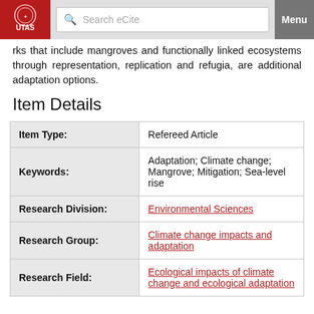UTAS | Search eCite | Menu
rks that include mangroves and functionally linked ecosystems through representation, replication and refugia, are additional adaptation options.
Item Details
| Field | Value |
| --- | --- |
| Item Type: | Refereed Article |
| Keywords: | Adaptation; Climate change; Mangrove; Mitigation; Sea-level rise |
| Research Division: | Environmental Sciences |
| Research Group: | Climate change impacts and adaptation |
| Research Field: | Ecological impacts of climate change and ecological adaptation |